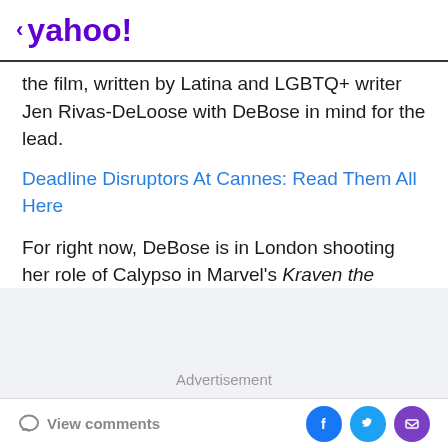< yahoo!
the film, written by Latina and LGBTQ+ writer Jen Rivas-DeLoose with DeBose in mind for the lead.
Deadline Disruptors At Cannes: Read Them All Here
For right now, DeBose is in London shooting her role of Calypso in Marvel's Kraven the Hunter.
Advertisement
View comments